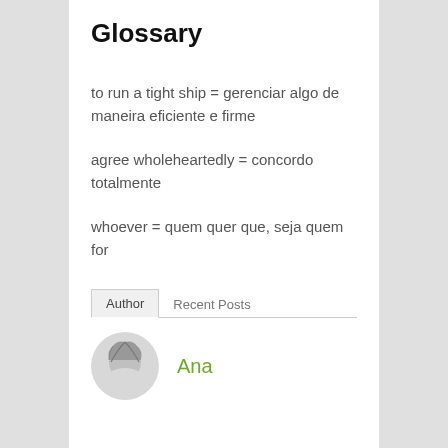Glossary
to run a tight ship = gerenciar algo de maneira eficiente e firme
agree wholeheartedly = concordo totalmente
whoever = quem quer que, seja quem for
Author | Recent Posts
Ana